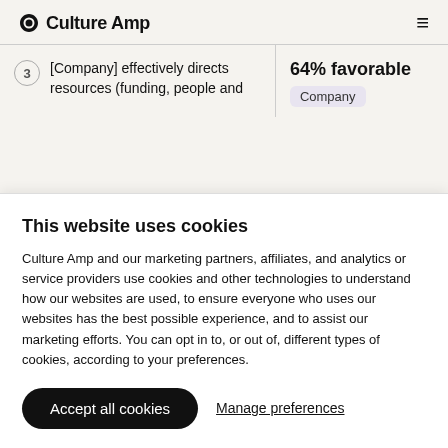C Culture Amp
| # | Question | Result |
| --- | --- | --- |
| 3 | [Company] effectively directs resources (funding, people and | 64% favorable
Company |
This website uses cookies
Culture Amp and our marketing partners, affiliates, and analytics or service providers use cookies and other technologies to understand how our websites are used, to ensure everyone who uses our websites has the best possible experience, and to assist our marketing efforts. You can opt in to, or out of, different types of cookies, according to your preferences.
Accept all cookies   Manage preferences